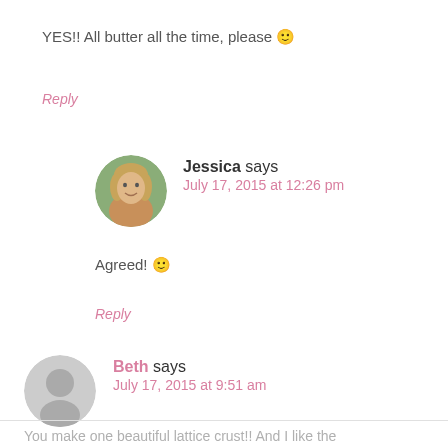YES!! All butter all the time, please 🙂
Reply
[Figure (photo): Circular avatar photo of Jessica, a young blonde woman outdoors]
Jessica says
July 17, 2015 at 12:26 pm
Agreed! 🙂
Reply
[Figure (illustration): Generic gray circular user avatar silhouette for Beth]
Beth says
July 17, 2015 at 9:51 am
You make one beautiful lattice crust!! And I like the